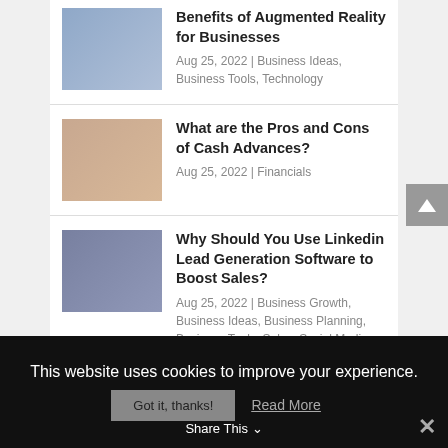Benefits of Augmented Reality for Businesses — Aug 25, 2022 | Business Ideas, Business Tools, Technology
What are the Pros and Cons of Cash Advances? — Aug 25, 2022 | Financials
Why Should You Use Linkedin Lead Generation Software to Boost Sales? — Aug 25, 2022 | Business Growth, Business Ideas, Business Planning, Business Tools, Sales, Social Media
10 Ways to Plan a Winning Virtual Business Event
This website uses cookies to improve your experience.
Got it, thanks!  Read More
Share This  ✕